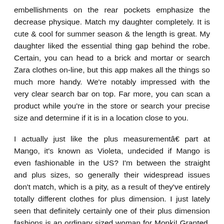embellishments on the rear pockets emphasize the decrease physique. Match my daughter completely. It is cute & cool for summer season & the length is great. My daughter liked the essential thing gap behind the robe. Certain, you can head to a brick and mortar or search Zara clothes on-line, but this app makes all the things so much more handy. We're notably impressed with the very clear search bar on top. Far more, you can scan a product while you're in the store or search your precise size and determine if it is in a location close to you.
I actually just like the plus measurementâ part at Mango, it's known as Violeta, undecided if Mango is even fashionable in the US? I'm between the straight and plus sizes, so generally their widespread issues don't match, which is a pity, as a result of they've entirely totally different clothes for plus dimension. I just lately seen that definitely certainly one of their plus dimension fashions is an ordinary sized woman for Monki! Granted, she wears a dimension medium, however how is that a plus dimension?! This makes me so irritated.